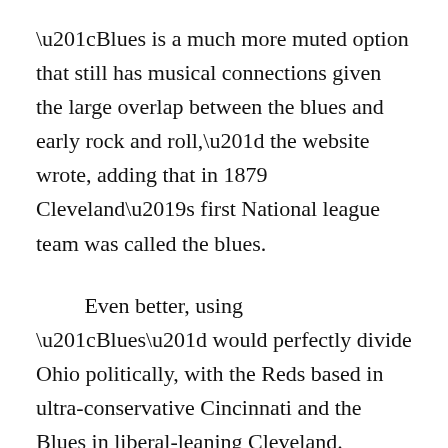“Blues is a much more muted option that still has musical connections given the large overlap between the blues and early rock and roll,” the website wrote, adding that in 1879 Cleveland’s first National league team was called the blues.
Even better, using “Blues” would perfectly divide Ohio politically, with the Reds based in ultra-conservative Cincinnati and the Blues in liberal-leaning Cleveland.